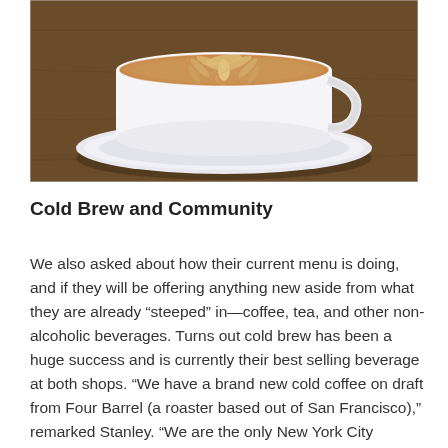[Figure (photo): Overhead close-up photo of a latte or cappuccino in a white ceramic cup on a saucer, with latte art visible on the surface, placed on a dark wooden table.]
Cold Brew and Community
We also asked about how their current menu is doing, and if they will be offering anything new aside from what they are already “steeped” in—coffee, tea, and other non-alcoholic beverages. Turns out cold brew has been a huge success and is currently their best selling beverage at both shops. “We have a brand new cold coffee on draft from Four Barrel (a roaster based out of San Francisco),” remarked Stanley. “We are the only New York City location to offer this for now. It’s different from our Cold Brew in that it gets brewed hot and then flashed chilled, creating a very aromatic, flavorful and clean cup. We have three single origins…